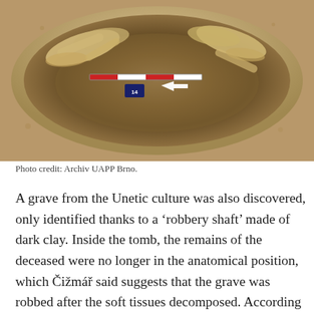[Figure (photo): Aerial view of an archaeological excavation pit showing skeletal remains of a human burial, with a red and white scale bar and a small blue label card with a white arrow pointing to the burial.]
Photo credit: Archiv UAPP Brno.
A grave from the Unetic culture was also discovered, only identified thanks to a ‘robbery shaft’ made of dark clay. Inside the tomb, the remains of the deceased were no longer in the anatomical position, which Čižmář said suggests that the grave was robbed after the soft tissues decomposed. According to a preliminary anthropological analysis, the remains were those of an adult man. A green colored print around the skull suggested that the man had likely worn a crown.